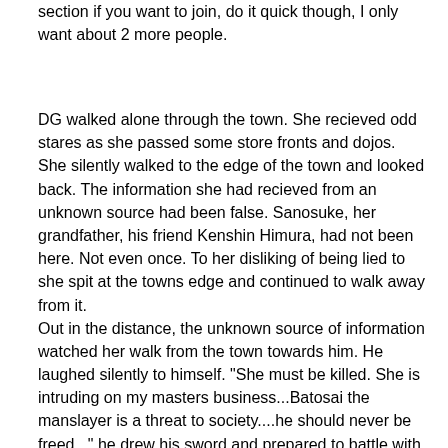section if you want to join, do it quick though, I only want about 2 more people.
DG walked alone through the town. She recieved odd stares as she passed some store fronts and dojos. She silently walked to the edge of the town and looked back. The information she had recieved from an unknown source had been false. Sanosuke, her grandfather, his friend Kenshin Himura, had not been here. Not even once. To her disliking of being lied to she spit at the towns edge and continued to walk away from it.
Out in the distance, the unknown source of information watched her walk from the town towards him. He laughed silently to himself. "She must be killed. She is intruding on my masters business...Batosai the manslayer is a threat to society....he should never be freed..." he drew his sword and prepared to battle with her as she approached.
DG noticed a man standing on a small hill in the distance. She walked closer and noticed the mans sword. She unsheathed her own sword and slowly approached the man.
The man saw that she was prepared to fight and quickly charged at her. DG saw the mans moves before they happened. After